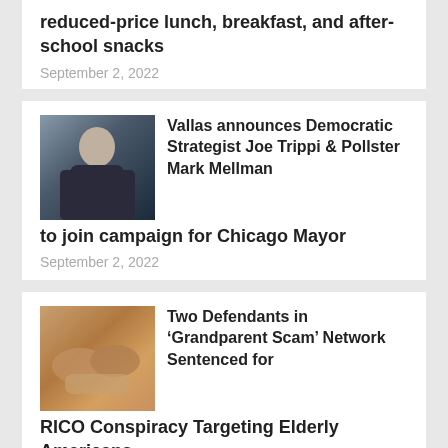reduced-price lunch, breakfast, and after-school snacks
September 2, 2022
[Figure (photo): Portrait photo of an older person outdoors, dark clothing, blurred background]
Vallas announces Democratic Strategist Joe Trippi & Pollster Mark Mellman to join campaign for Chicago Mayor
September 2, 2022
[Figure (photo): Close-up photo of elderly hands, warm tones]
Two Defendants in ‘Grandparent Scam’ Network Sentenced for RICO Conspiracy Targeting Elderly Americans
September 2, 2022